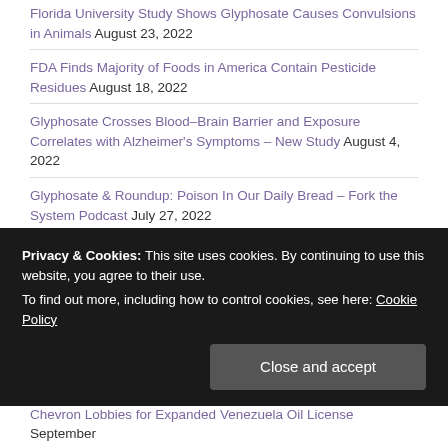Florida University Study Shows Glyphosate Causes Convulsions in Animals August 23, 2022
FDA Finds Majority of Foods in America Contain Pesticide Residues August 18, 2022
Glyphosate Crosses Blood–Brain Barrier and Exposure Correlates with Alzheimer's Symptoms – New Study August 4, 2022
Glyphosate & Roundup: Poison In Our Daily Bread – Fork the System Podcast July 27, 2022
Biden Administration Refuses Phase Out of Pesticides on US Wildlife Refuge July 27, 2022
Privacy & Cookies: This site uses cookies. By continuing to use this website, you agree to their use. To find out more, including how to control cookies, see here: Cookie Policy
Chevron Lobbies for Expanded Venezuela Oil License September